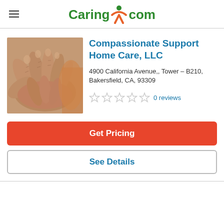Caring.com
[Figure (photo): Close-up photo of elderly hands holding together, wrinkled skin, warm tones]
Compassionate Support Home Care, LLC
4900 California Avenue,, Tower – B210, Bakersfield, CA, 93309
0 reviews
Get Pricing
See Details